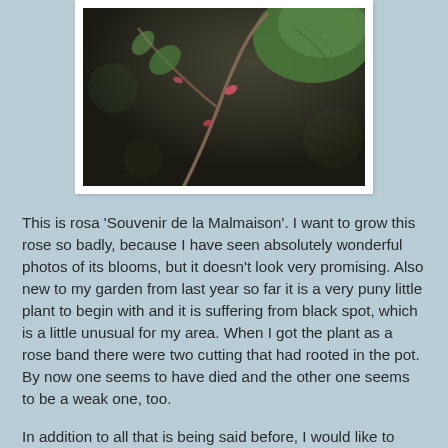[Figure (photo): Close-up macro photograph of a rose plant stem with small pink/red thorns and green leaves, dark background, showing the plant growth structure of rosa 'Souvenir de la Malmaison'.]
This is rosa 'Souvenir de la Malmaison'. I want to grow this rose so badly, because I have seen absolutely wonderful photos of its blooms, but it doesn't look very promising. Also new to my garden from last year so far it is a very puny little plant to begin with and it is suffering from black spot, which is a little unusual for my area. When I got the plant as a rose band there were two cutting that had rooted in the pot. By now one seems to have died and the other one seems to be a weak one, too.
In addition to all that is being said before, I would like to share that this is already my second trial with this rose. This first rose band died after a short time. Even though in